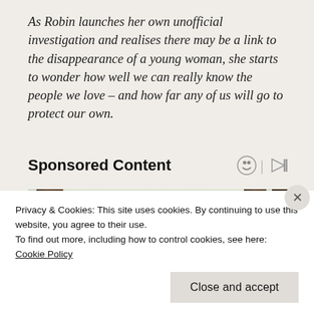As Robin launches her own unofficial investigation and realises there may be a link to the disappearance of a young woman, she starts to wonder how well we can really know the people we love – and how far any of us will go to protect our own.
Sponsored Content
[Figure (photo): Outdoor forest/woodland scene showing tall tree trunks with pine trees and foliage in background, reddish-brown ground cover visible at bottom]
Privacy & Cookies: This site uses cookies. By continuing to use this website, you agree to their use.
To find out more, including how to control cookies, see here: Cookie Policy
Close and accept